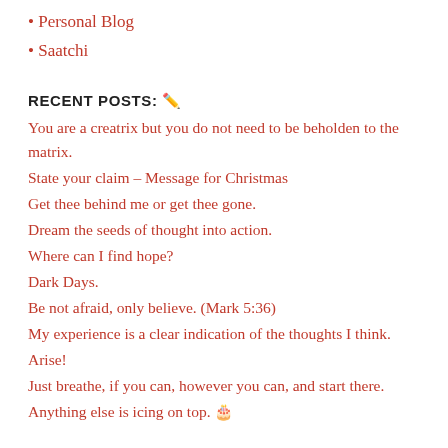• Personal Blog
• Saatchi
RECENT POSTS: ✏️
You are a creatrix but you do not need to be beholden to the matrix.
State your claim – Message for Christmas
Get thee behind me or get thee gone.
Dream the seeds of thought into action.
Where can I find hope?
Dark Days.
Be not afraid, only believe. (Mark 5:36)
My experience is a clear indication of the thoughts I think.
Arise!
Just breathe, if you can, however you can, and start there.
Anything else is icing on top. 🎂